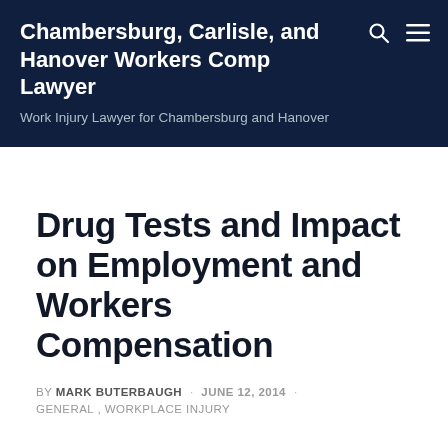Chambersburg, Carlisle, and Hanover Workers Comp Lawyer
Work Injury Lawyer for Chambersburg and Hanover
Drug Tests and Impact on Employment and Workers Compensation
BY MARK BUTERBAUGH · JUNE 12, 2014 · GENERAL, WORKPLACE INJURY